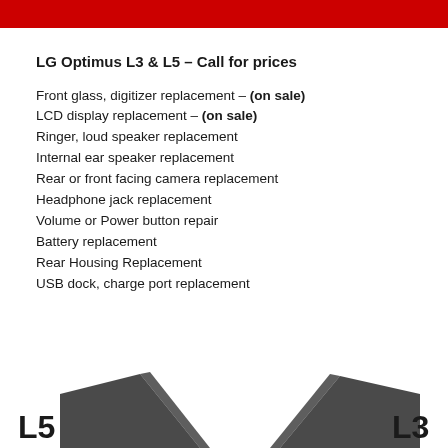LG Optimus L3 & L5 – Call for prices
Front glass, digitizer replacement – (on sale)
LCD display replacement – (on sale)
Ringer, loud speaker replacement
Internal ear speaker replacement
Rear or front facing camera replacement
Headphone jack replacement
Volume or Power button repair
Battery replacement
Rear Housing Replacement
USB dock, charge port replacement
[Figure (photo): LG L5 and LG L3 smartphones shown side by side at the bottom of the page with large text labels L5 and L3]